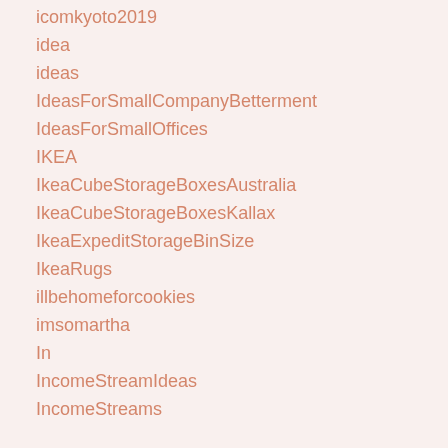icomkyoto2019
idea
ideas
IdeasForSmallCompanyBetterment
IdeasForSmallOffices
IKEA
IkeaCubeStorageBoxesAustralia
IkeaCubeStorageBoxesKallax
IkeaExpeditStorageBinSize
IkeaRugs
illbehomeforcookies
imsomartha
In
IncomeStreamIdeas
IncomeStreams